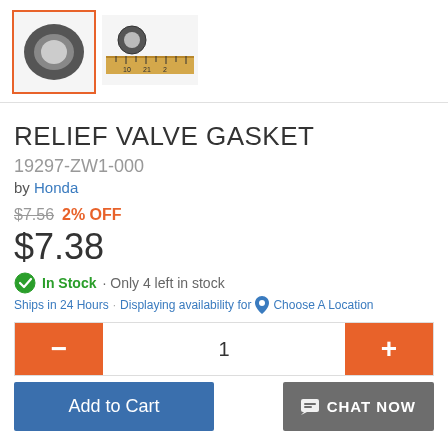[Figure (photo): Two thumbnail images of a relief valve gasket. The first (selected, orange border) shows the gasket from front view. The second shows the gasket next to a ruler for scale.]
RELIEF VALVE GASKET
19297-ZW1-000
by Honda
$7.56 2% OFF
$7.38
In Stock · Only 4 left in stock
Ships in 24 Hours · Displaying availability for Choose A Location